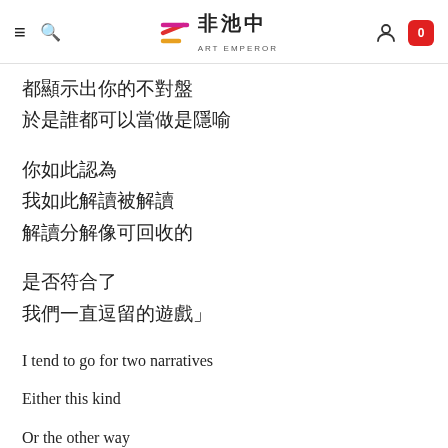非池中 ART EMPEROR
都顯示出你的不對盤
於是誰都可以當做是隱喻
你如此認為
我如此解讀被解讀
解讀分解像可回收的
是否符合了
我們一直逗留的遊戲」
I tend to go for two narratives
Either this kind
Or the other way